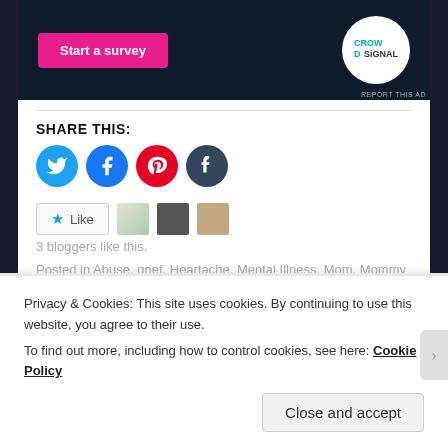[Figure (screenshot): Advertisement banner with 'Start a survey' pink button and Crowdsignal circular logo on dark navy background]
REPORT THIS AD
SHARE THIS:
[Figure (infographic): Social sharing icons: Twitter (blue), Facebook (blue), Pinterest (red), Tumblr (dark teal) circles]
[Figure (infographic): Like button with star icon and 3 blogger avatars]
3 bloggers like this.
Posted in Abuse, grief, Heartache, Mental Illness, Mom, Mommy Issues, motherhood | Tagged abuse, grief, loss, mental illness, mother, motherhood | Leave a reply
Privacy & Cookies: This site uses cookies. By continuing to use this website, you agree to their use.
To find out more, including how to control cookies, see here: Cookie Policy
Close and accept